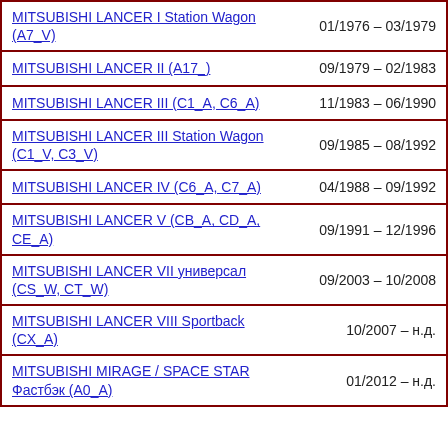| Model | Date Range |
| --- | --- |
| MITSUBISHI LANCER I Station Wagon (A7_V) | 01/1976 – 03/1979 |
| MITSUBISHI LANCER II (A17_) | 09/1979 – 02/1983 |
| MITSUBISHI LANCER III (C1_A, C6_A) | 11/1983 – 06/1990 |
| MITSUBISHI LANCER III Station Wagon (C1_V, C3_V) | 09/1985 – 08/1992 |
| MITSUBISHI LANCER IV (C6_A, C7_A) | 04/1988 – 09/1992 |
| MITSUBISHI LANCER V (CB_A, CD_A, CE_A) | 09/1991 – 12/1996 |
| MITSUBISHI LANCER VII универсал (CS_W, CT_W) | 09/2003 – 10/2008 |
| MITSUBISHI LANCER VIII Sportback (CX_A) | 10/2007 – н.д. |
| MITSUBISHI MIRAGE / SPACE STAR Фастбэк (A0_A) | 01/2012 – н.д. |